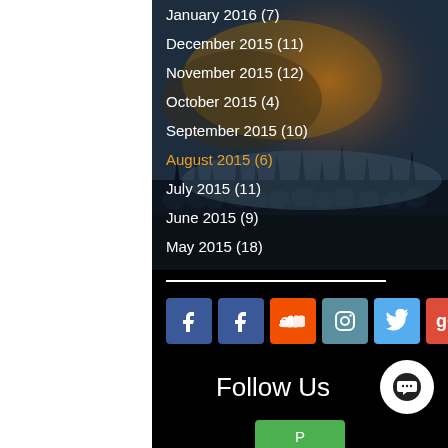[Figure (photo): Concert crowd photo with dark blue/night sky and orange smoke, silhouettes of people with hands raised]
January 2016 (7)
December 2015 (11)
November 2015 (12)
October 2015 (4)
September 2015 (10)
August 2015 (6)
July 2015 (11)
June 2015 (9)
May 2015 (18)
April 2015 (1)
December 2013 (1)
September 2013 (1)
March 2012 (1)
[Figure (infographic): Social media icons row: Facebook (x2), SoundCloud, Instagram, Twitter, Google+]
Follow Us